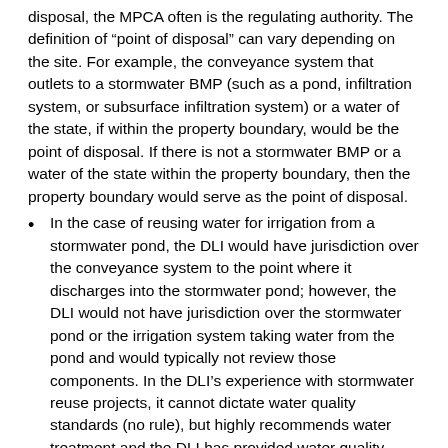disposal, the MPCA often is the regulating authority. The definition of “point of disposal” can vary depending on the site. For example, the conveyance system that outlets to a stormwater BMP (such as a pond, infiltration system, or subsurface infiltration system) or a water of the state, if within the property boundary, would be the point of disposal. If there is not a stormwater BMP or a water of the state within the property boundary, then the property boundary would serve as the point of disposal.
In the case of reusing water for irrigation from a stormwater pond, the DLI would have jurisdiction over the conveyance system to the point where it discharges into the stormwater pond; however, the DLI would not have jurisdiction over the stormwater pond or the irrigation system taking water from the pond and would typically not review those components. In the DLI’s experience with stormwater reuse projects, it cannot dictate water quality standards (no rule), but highly recommends water treatment and the DLI has provided water quality guidance (fecal coliform limits and Total Suspended Solids—TSS limits).
In terms of stormwater collection systems on/within buildings, the plumbing code does not regulate scuppers,